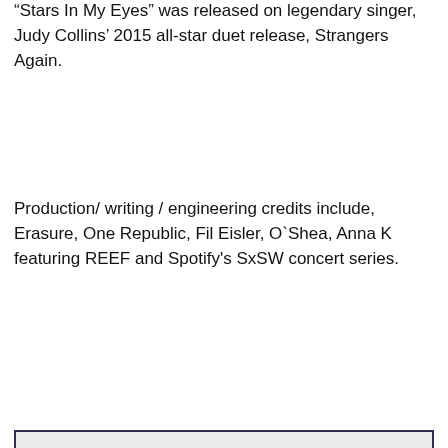“Stars In My Eyes” was released on legendary singer, Judy Collins’ 2015 all-star duet release, Strangers Again.
Production/ writing / engineering credits include, Erasure, One Republic, Fil Eisler, O`Shea, Anna K featuring REEF and Spotify's SxSW concert series.
““  I think the biggest lesson I learned in Nashville is...

Music is Made Best by Committee